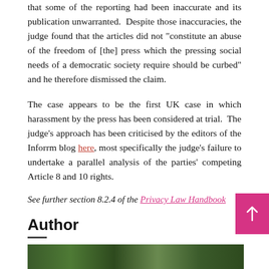that some of the reporting had been inaccurate and its publication unwarranted. Despite those inaccuracies, the judge found that the articles did not "constitute an abuse of the freedom of [the] press which the pressing social needs of a democratic society require should be curbed" and he therefore dismissed the claim.
The case appears to be the first UK case in which harassment by the press has been considered at trial. The judge's approach has been criticised by the editors of the Inforrm blog here, most specifically the judge's failure to undertake a parallel analysis of the parties' competing Article 8 and 10 rights.
See further section 8.2.4 of the Privacy Law Handbook
Author
[Figure (photo): A cropped photo showing green foliage or a natural background, partially visible at the bottom of the page.]